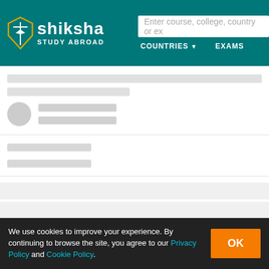[Figure (screenshot): Shiksha Study Abroad website header with logo, search bar, and navigation items COUNTRIES and EXAMS on teal background. Below is a loading skeleton state showing placeholder gray bars and an avatar circle. At the bottom is a cookie consent banner.]
We use cookies to improve your experience. By continuing to browse the site, you agree to our Privacy Policy and Cookie Policy.
OK